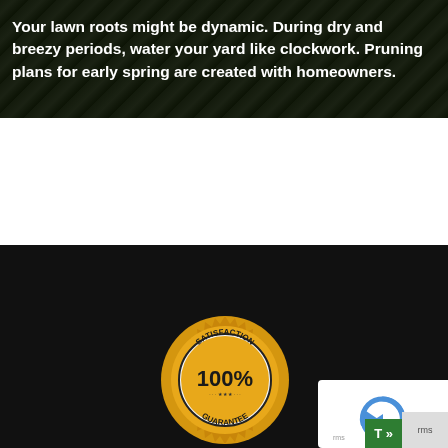[Figure (photo): Dark background showing frosted or dewy grass/lawn close-up with overlaid bold white text]
Your lawn roots might be dynamic. During dry and breezy periods, water your yard like clockwork. Pruning plans for early spring are created with homeowners.
[Figure (illustration): Satisfaction 100% Guarantee gold badge/seal on black background]
[Figure (logo): reCAPTCHA logo box partially visible at right edge]
[Figure (other): Green T>> translate button at bottom right]